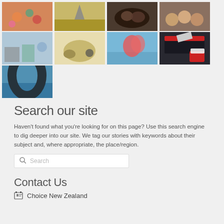[Figure (photo): Grid of 9 photos: food/crafts, mountain landscape, dark food, baked goods, restaurant setting, food ingredients, hot air balloon, movie clapperboard with popcorn, sea cave view]
Search our site
Haven't found what you're looking for on this page? Use this search engine to dig deeper into our site. We tag our stories with keywords about their subject and, where appropriate, the place/region.
Contact Us
Choice New Zealand